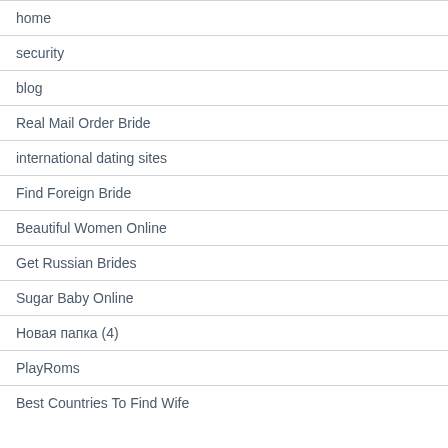home
security
blog
Real Mail Order Bride
international dating sites
Find Foreign Bride
Beautiful Women Online
Get Russian Brides
Sugar Baby Online
Новая папка (4)
PlayRoms
Best Countries To Find Wife